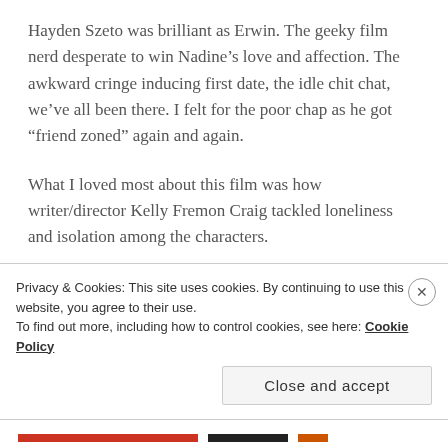Hayden Szeto was brilliant as Erwin. The geeky film nerd desperate to win Nadine’s love and affection. The awkward cringe inducing first date, the idle chit chat, we’ve all been there. I felt for the poor chap as he got “friend zoned” again and again.
What I loved most about this film was how writer/director Kelly Fremon Craig tackled loneliness and isolation among the characters.
Nadine’s depression and frustrations reaching breaking point as she tries to break up the people who are desperately trying to help her. The stubbornness
Privacy & Cookies: This site uses cookies. By continuing to use this website, you agree to their use.
To find out more, including how to control cookies, see here: Cookie Policy
Close and accept